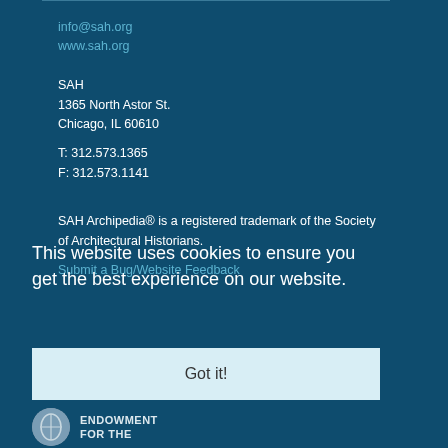info@sah.org
www.sah.org
SAH
1365 North Astor St.
Chicago, IL 60610
T: 312.573.1365
F: 312.573.1141
SAH Archipedia® is a registered trademark of the Society of Architectural Historians.
Submit a Bug/Website Feedback
This website uses cookies to ensure you get the best experience on our website.
Got it!
[Figure (logo): Endowment for the Humanities logo with circular emblem on left and text ENDOWMENT FOR THE on right]